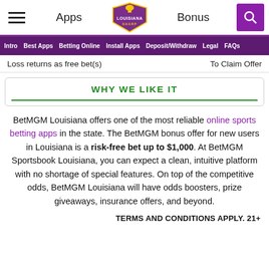Apps | Louisiana Sharp Logo | Bonus | Search
Intro | Best Apps | Betting Online | Install Apps | Deposit/Withdraw | Legal | FAQs
Loss returns as free bet(s)   To Claim Offer
WHY WE LIKE IT
BetMGM Louisiana offers one of the most reliable online sports betting apps in the state. The BetMGM bonus offer for new users in Louisiana is a risk-free bet up to $1,000. At BetMGM Sportsbook Louisiana, you can expect a clean, intuitive platform with no shortage of special features. On top of the competitive odds, BetMGM Louisiana will have odds boosters, prize giveaways, insurance offers, and beyond.
TERMS AND CONDITIONS APPLY. 21+